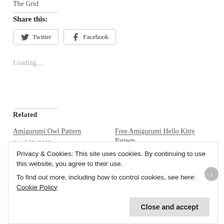The Grid
Share this:
Twitter
Facebook
Loading...
Related
Amigurumi Owl Pattern
April 28, 2010
In "Amigurumi"
Free Amigurumi Hello Kitty Pattern
May 29, 2010
In "Amigurumi"
Privacy & Cookies: This site uses cookies. By continuing to use this website, you agree to their use.
To find out more, including how to control cookies, see here: Cookie Policy
Close and accept